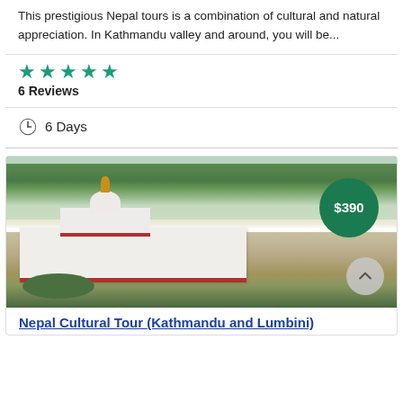This prestigious Nepal tours is a combination of cultural and natural appreciation. In Kathmandu valley and around, you will be...
★★★★★
6 Reviews
🕐 6 Days
[Figure (photo): Aerial view of a white Buddhist temple/stupa complex (likely in Lumbini, Nepal), surrounded by green gardens and trees. A price badge showing $390 in a green circle is overlaid on the top right of the image.]
Nepal Cultural Tour (Kathmandu and Lumbini)